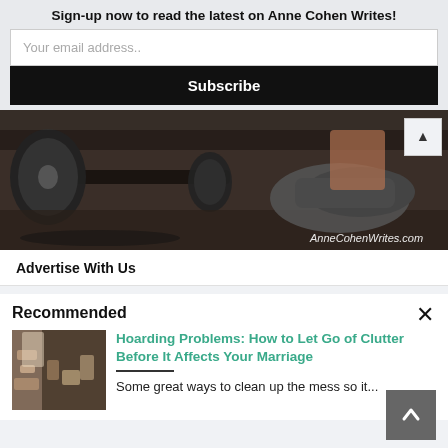Sign-up now to read the latest on Anne Cohen Writes!
Your email address..
Subscribe
[Figure (photo): Close-up photo of dumbbells and a sneaker on a gym floor, with 'AnneCohenWrites.com' watermark in bottom right]
Advertise With Us
Recommended
[Figure (photo): Thumbnail photo of a cluttered hoarding scene]
Hoarding Problems: How to Let Go of Clutter Before It Affects Your Marriage
Some great ways to clean up the mess so it...